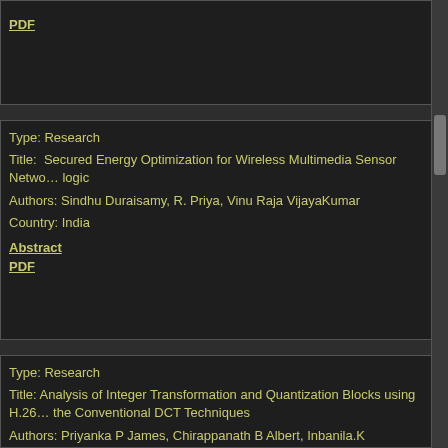PDF
Type: Research
Title: Secured Energy Optimization for Wireless Multimedia Sensor Networks using fuzzy logic
Authors: Sindhu Duraisamy, R. Priya, Vinu Raja VijayaKumar
Country: India
Abstract
PDF
Type: Research
Title: Analysis of Integer Transformation and Quantization Blocks using H.264 compared with the Conventional DCT Techniques
Authors: Priyanka P James, Chirappanath B Albert, Inbanila.K
Country: India
Abstract
PDF